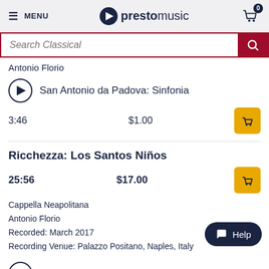MENU | prestomusic | cart 0
Search Classical
Antonio Florio
San Antonio da Padova: Sinfonia
3:46   $1.00
Ricchezza: Los Santos Niños
25:56   $17.00
Cappella Neapolitana
Antonio Florio
Recorded: March 2017
Recording Venue: Palazzo Positano, Naples, Italy
La fiamma bambina